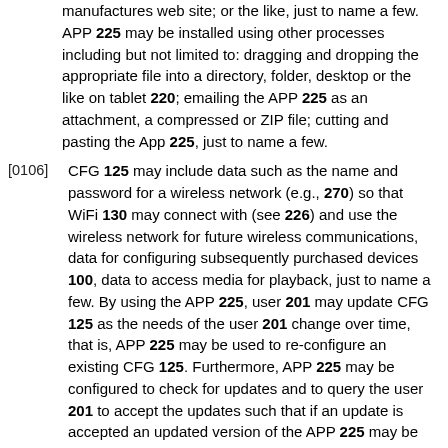manufactures web site; or the like, just to name a few. APP 225 may be installed using other processes including but not limited to: dragging and dropping the appropriate file into a directory, folder, desktop or the like on tablet 220; emailing the APP 225 as an attachment, a compressed or ZIP file; cutting and pasting the App 225, just to name a few.
[0106] CFG 125 may include data such as the name and password for a wireless network (e.g., 270) so that WiFi 130 may connect with (see 226) and use the wireless network for future wireless communications, data for configuring subsequently purchased devices 100, data to access media for playback, just to name a few. By using the APP 225, user 201 may update CFG 125 as the needs of the user 201 change over time, that is, APP 225 may be used to re-configure an existing CFG 125. Furthermore, APP 225 may be configured to check for updates and to query the user 201 to accept the updates such that if an update is accepted an updated version of the APP 225 may be installed on tablet 220 or on any of the